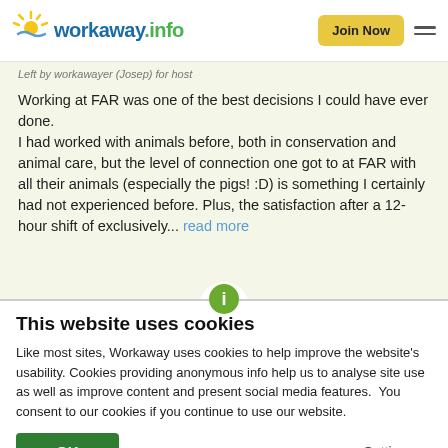workaway.info — Join Now
Left by workawayer (Josep) for host
Working at FAR was one of the best decisions I could have ever done.
I had worked with animals before, both in conservation and animal care, but the level of connection one got to at FAR with all their animals (especially the pigs! :D) is something I certainly had not experienced before. Plus, the satisfaction after a 12-hour shift of exclusively... read more
This website uses cookies
Like most sites, Workaway uses cookies to help improve the website's usability. Cookies providing anonymous info help us to analyse site use as well as improve content and present social media features.  You consent to our cookies if you continue to use our website.
OK
Settings ▾